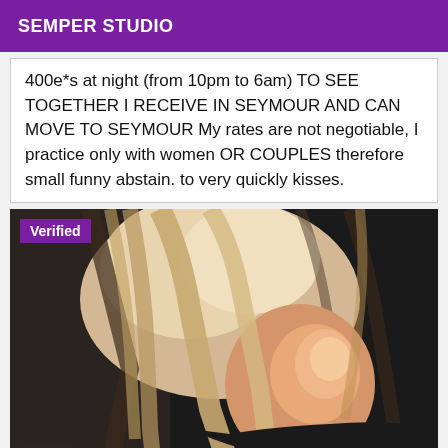SEMPER STUDIO
400e*s at night (from 10pm to 6am) TO SEE TOGETHER I RECEIVE IN SEYMOUR AND CAN MOVE TO SEYMOUR My rates are not negotiable, I practice only with women OR COUPLES therefore small funny abstain. to very quickly kisses.
[Figure (photo): Close-up photo of a blonde woman with wavy hair, face turned downward, with a purple 'Verified' badge overlaid in the top-left corner.]